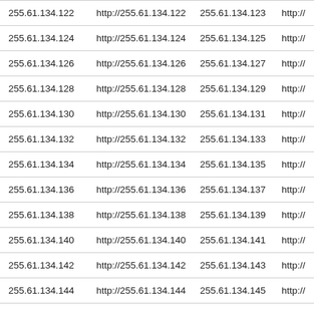| 255.61.134.122 | http://255.61.134.122 | 255.61.134.123 | http:// |
| 255.61.134.124 | http://255.61.134.124 | 255.61.134.125 | http:// |
| 255.61.134.126 | http://255.61.134.126 | 255.61.134.127 | http:// |
| 255.61.134.128 | http://255.61.134.128 | 255.61.134.129 | http:// |
| 255.61.134.130 | http://255.61.134.130 | 255.61.134.131 | http:// |
| 255.61.134.132 | http://255.61.134.132 | 255.61.134.133 | http:// |
| 255.61.134.134 | http://255.61.134.134 | 255.61.134.135 | http:// |
| 255.61.134.136 | http://255.61.134.136 | 255.61.134.137 | http:// |
| 255.61.134.138 | http://255.61.134.138 | 255.61.134.139 | http:// |
| 255.61.134.140 | http://255.61.134.140 | 255.61.134.141 | http:// |
| 255.61.134.142 | http://255.61.134.142 | 255.61.134.143 | http:// |
| 255.61.134.144 | http://255.61.134.144 | 255.61.134.145 | http:// |